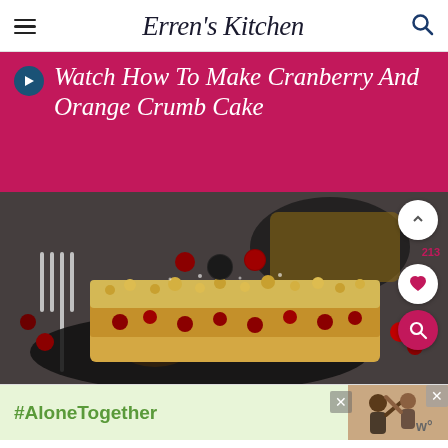Erren's Kitchen
Watch How To Make Cranberry And Orange Crumb Cake
[Figure (photo): A close-up photo of cranberry and orange crumb cake slices on a dark plate, garnished with fresh cranberries and orange slices, with a fork visible on the left side.]
[Figure (photo): Advertisement banner with #AloneTogether text and people waving in the background.]